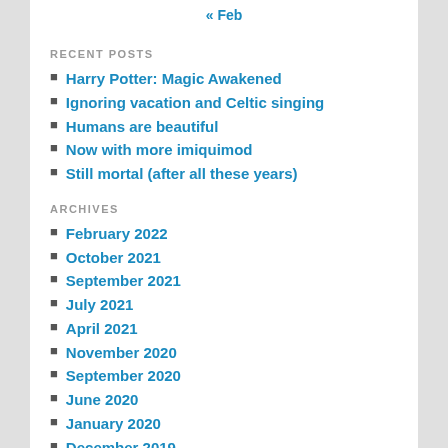« Feb
RECENT POSTS
Harry Potter: Magic Awakened
Ignoring vacation and Celtic singing
Humans are beautiful
Now with more imiquimod
Still mortal (after all these years)
ARCHIVES
February 2022
October 2021
September 2021
July 2021
April 2021
November 2020
September 2020
June 2020
January 2020
December 2019
November 2019